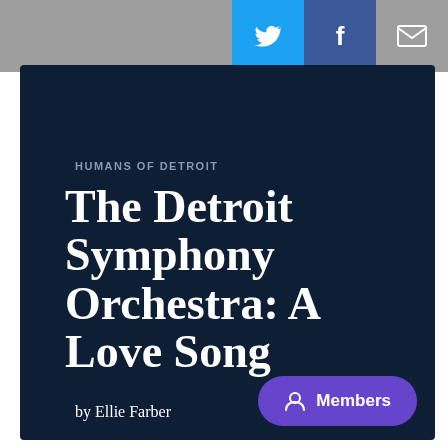[Figure (screenshot): Top navigation bar with Twitter (blue bird icon), Facebook (blue f icon), and mail (envelope icon) social sharing buttons on a grey background]
HUMANS OF DETROIT
The Detroit Symphony Orchestra: A Love Song
by Ellie Farber
[Figure (logo): Nu?Detroit circular logo in blue]
Nu?Detroit
4
[Figure (other): Purple Members button with person icon]